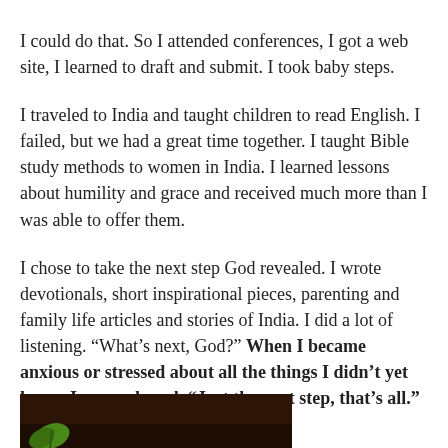I could do that. So I attended conferences, I got a web site, I learned to draft and submit. I took baby steps.
I traveled to India and taught children to read English. I failed, but we had a great time together. I taught Bible study methods to women in India. I learned lessons about humility and grace and received much more than I was able to offer them.
I chose to take the next step God revealed. I wrote devotionals, short inspirational pieces, parenting and family life articles and stories of India. I did a lot of listening. “What’s next, God?” When I became anxious or stressed about all the things I didn’t yet know, I remembered, “Just the next step, that’s all.”
[Figure (photo): Bottom portion of a dark brown image, partially visible, appearing to show a book cover with a green leaf or plant element visible at the bottom edge.]